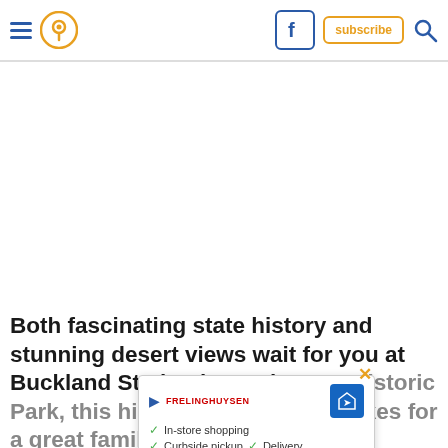Navigation header with hamburger menu, location pin icon, Facebook icon, subscribe button, and search icon
[Figure (other): White advertisement/blank space area below header]
Both fascinating state history and stunning desert views wait for you at Buckland Station in north... State Historic Park, this historic destination makes for a great family field trip!
[Figure (other): Overlay popup advertisement with In-store shopping, Curbside pickup, Delivery options, a play/logo area, a navigation sign icon, and a close X button]